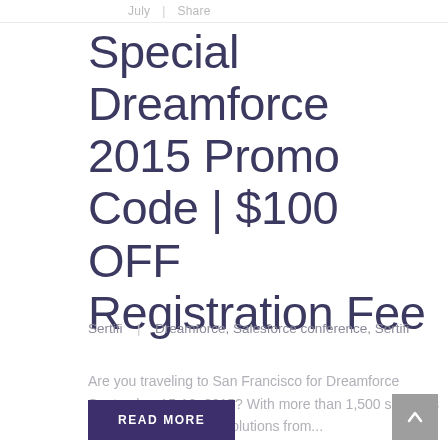July | Share
Special Dreamforce 2015 Promo Code | $100 OFF Registration Fee
Sertifi | Dreamforce, Salesforce conference, Sertifi
Are you traveling to San Francisco for Dreamforce September 15-18, 2015? With more than 1,500 sessions and thousands of live solutions from...
READ MORE